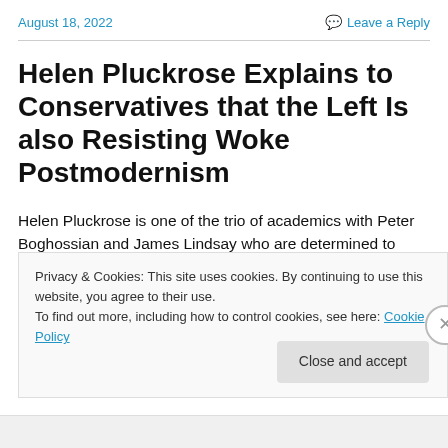August 18, 2022   Leave a Reply
Helen Pluckrose Explains to Conservatives that the Left Is also Resisting Woke Postmodernism
Helen Pluckrose is one of the trio of academics with Peter Boghossian and James Lindsay who are determined to
Privacy & Cookies: This site uses cookies. By continuing to use this website, you agree to their use.
To find out more, including how to control cookies, see here: Cookie Policy
Close and accept